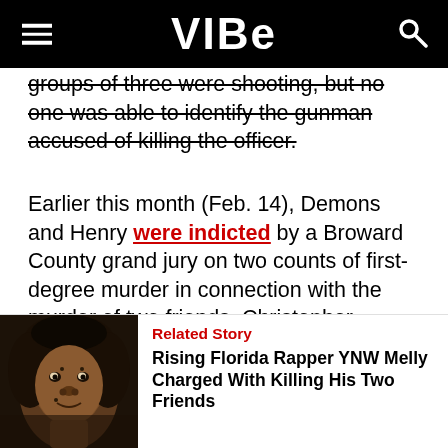VIBE
groups of three were shooting, but no one was able to identify the gunman accused of killing the officer.
Earlier this month (Feb. 14), Demons and Henry were indicted by a Broward County grand jury on two counts of first-degree murder in connection with the murder of two friends, Christopher Thomas Jr, and Anthony Williams.
[Figure (photo): Photo of YNW Melly, a young Black male rapper with dreadlocks and face tattoos]
Related Story
Rising Florida Rapper YNW Melly Charged With Killing His Two Friends